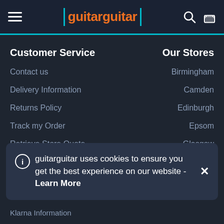guitarguitar
Customer Service
Our Stores
Contact us
Birmingham
Delivery Information
Camden
Returns Policy
Edinburgh
Track my Order
Epsom
Retrieve Store Quote
Glasgow
guitarguitar uses cookies to ensure you get the best experience on our website - Learn More
Klarna Information